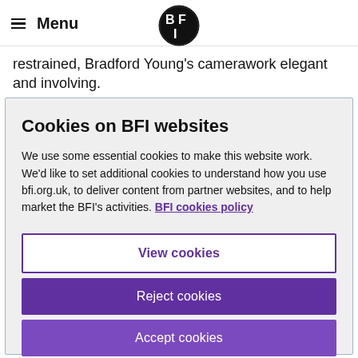Menu | BFI
restrained, Bradford Young's camerawork elegant and involving.
Cookies on BFI websites
We use some essential cookies to make this website work. We'd like to set additional cookies to understand how you use bfi.org.uk, to deliver content from partner websites, and to help market the BFI's activities. BFI cookies policy